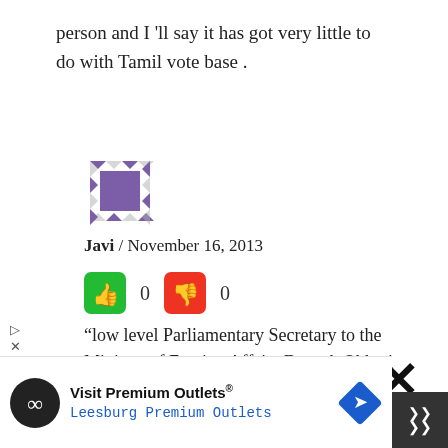person and I 'll say it has got very little to do with Tamil vote base .
[Figure (illustration): Purple geometric avatar icon with triangular pattern border around a central square]
Javi / November 16, 2013
[Figure (infographic): Green thumbs-up button showing 0 votes and red thumbs-down button showing 0 votes]
“low level Parliamentary Secretary to the Minister of Foreign Affairs Deepak Obhrai is representing Canada this time.”
[Figure (infographic): Advertisement banner: Visit Premium Outlets / Leesburg Premium Outlets with circular logo and blue diamond navigation icon]
[Figure (infographic): Dark scroll-to-top button with upward chevrons in bottom right corner]